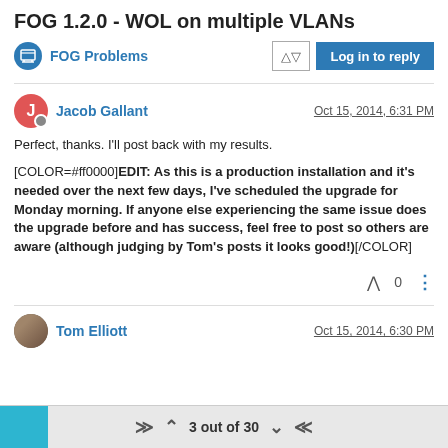FOG 1.2.0 - WOL on multiple VLANs
FOG Problems | Log in to reply
Jacob Gallant  Oct 15, 2014, 6:31 PM
Perfect, thanks. I'll post back with my results.

[COLOR=#ff0000]EDIT: As this is a production installation and it's needed over the next few days, I've scheduled the upgrade for Monday morning. If anyone else experiencing the same issue does the upgrade before and has success, feel free to post so others are aware (although judging by Tom's posts it looks good!)[/COLOR]
^ 0 ⋮
Tom Elliott  Oct 15, 2014, 6:30 PM
⇈ ∧  3 out of 30  ∨  ⇊